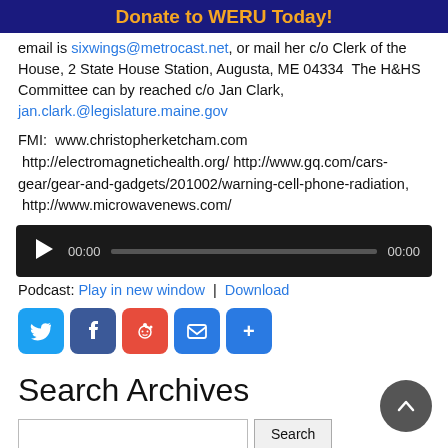Donate to WERU Today!
email is sixwings@metrocast.net, or mail her c/o Clerk of the House, 2 State House Station, Augusta, ME 04334  The H&HS Committee can by reached c/o Jan Clark, jan.clark.@legislature.maine.gov
FMI:  www.christopherketcham.com
 http://electromagnetichealth.org/ http://www.gq.com/cars-gear/gear-and-gadgets/201002/warning-cell-phone-radiation,
 http://www.microwavenews.com/
[Figure (screenshot): Audio player widget with play button, time display 00:00, progress bar, and end time 00:00]
Podcast: Play in new window | Download
[Figure (infographic): Social share buttons: Twitter, Facebook, Reddit, Email, Share (+)]
Search Archives
[Figure (screenshot): Search input field and Search button]